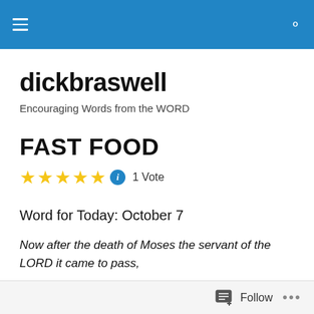dickbraswell — navigation header
dickbraswell
Encouraging Words from the WORD
FAST FOOD
★★★★★ ℹ 1 Vote
Word for Today: October 7
Now after the death of Moses the servant of the LORD it came to pass, that the LORD spake unto Joshua the son of Nun, Moses' minister,
Follow …